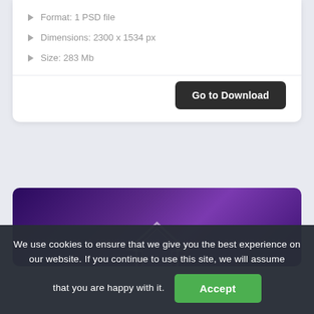Format: 1 PSD file
Dimensions: 2300 x 1534 px
Size: 283 Mb
Go to Download
[Figure (illustration): Purple gradient card with a white house/diamond outline icon visible at the bottom center]
We use cookies to ensure that we give you the best experience on our website. If you continue to use this site, we will assume that you are happy with it.